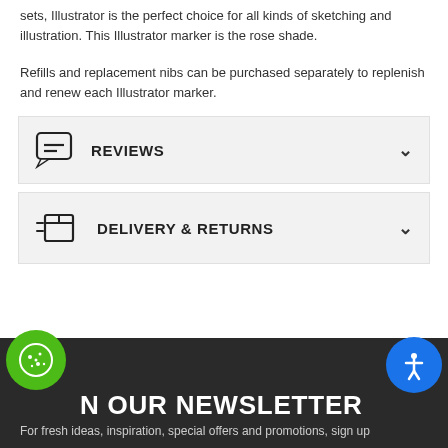sets, Illustrator is the perfect choice for all kinds of sketching and illustration. This Illustrator marker is the rose shade.
Refills and replacement nibs can be purchased separately to replenish and renew each Illustrator marker.
REVIEWS
DELIVERY & RETURNS
N OUR NEWSLETTER
For fresh ideas, inspiration, special offers and promotions, sign up